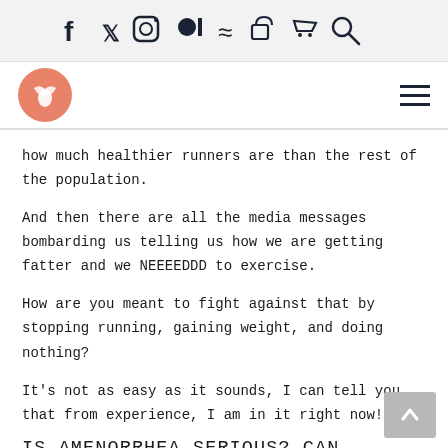Social media icons: Facebook, Twitter, Instagram, Patreon, RSS, Lock, Cart, Search
[Figure (logo): Orange circular logo with a stylized foot/seedling icon in white, navigation bar with hamburger menu]
how much healthier runners are than the rest of the population.
And then there are all the media messages bombarding us telling us how we are getting fatter and we NEEEEDDD to exercise.
How are you meant to fight against that by stopping running, gaining weight, and doing nothing?
It's not as easy as it sounds, I can tell you that from experience, I am in it right now!
IS AMENORRHEA SERIOUS? CAN